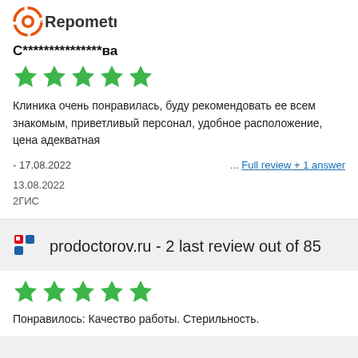[Figure (logo): Repometr logo with orange circular icon and text]
С***************ва
[Figure (other): 5 green stars rating]
Клиника очень понравилась, буду рекомендовать ее всем знакомым, приветливый персонал, удобное расположение, цена адекватная
- 17.08.2022
... Full review + 1 answer
13.08.2022
2ГИС
prodoctorov.ru - 2 last review out of 85
[Figure (other): 5 green stars rating]
Понравилось: Качество работы. Стерильность.